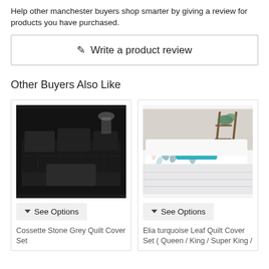Help other manchester buyers shop smarter by giving a review for products you have purchased.
✎ Write a product review
Other Buyers Also Like
[Figure (photo): Dark/black quilt cover set arranged on a bed with grey pillows and cushions in a dimly lit room.]
[Figure (photo): White quilt cover set with teal/blue floral leaf pattern on a bed with a teal cushion, styled in a bright room with wooden shelving and plants.]
▾ See Options
▾ See Options
Cossette Stone Grey Quilt Cover Set
Elia turquoise Leaf Quilt Cover Set ( Queen / King / Super King /